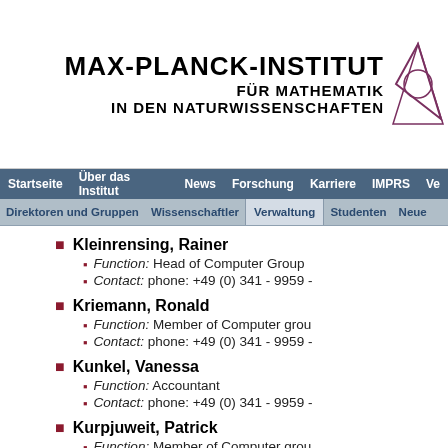MAX-PLANCK-INSTITUT FÜR MATHEMATIK IN DEN NATURWISSENSCHAFTEN
Startseite | Über das Institut | News | Forschung | Karriere | IMPRS | Ve...
Direktoren und Gruppen | Wissenschaftler | Verwaltung | Studenten | Neue...
Kleinrensing, Rainer
Function: Head of Computer Group
Contact: phone: +49 (0) 341 - 9959 -
Kriemann, Ronald
Function: Member of Computer group
Contact: phone: +49 (0) 341 - 9959 -
Kunkel, Vanessa
Function: Accountant
Contact: phone: +49 (0) 341 - 9959 -
Kurpjuweit, Patrick
Function: Member of Computer group
Contact: phone: +49 (0) 341 - 9959 -
Lehnert, Jörg
Function: Scientific Coordinator
Contact: phone: +49 (0) 341 - 9959 -